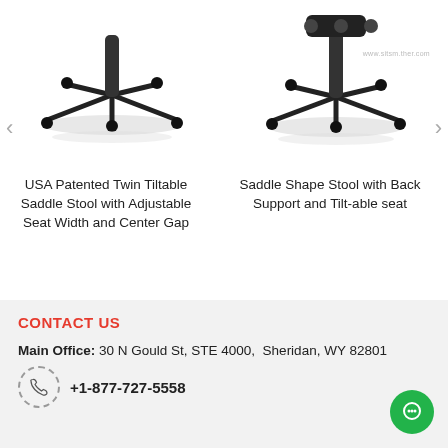[Figure (photo): Photo of chair base/stool product 1 - USA Patented Twin Tiltable Saddle Stool]
[Figure (photo): Photo of chair base/stool product 2 - Saddle Shape Stool with Back Support]
USA Patented Twin Tiltable Saddle Stool with Adjustable Seat Width and Center Gap
★★★★★ $284.95  $300.00
Saddle Shape Stool with Back Support and Tilt-able seat
★★★★½ $199.95  $300.00
CONTACT US
Main Office: 30 N Gould St, STE 4000,  Sheridan, WY 82801
+1-877-727-5558